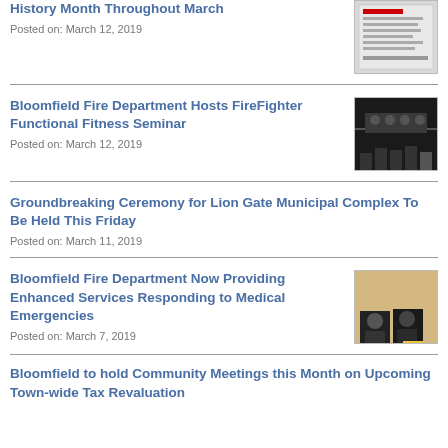History Month Throughout March
Posted on: March 12, 2019
Bloomfield Fire Department Hosts FireFighter Functional Fitness Seminar
Posted on: March 12, 2019
Groundbreaking Ceremony for Lion Gate Municipal Complex To Be Held This Friday
Posted on: March 11, 2019
Bloomfield Fire Department Now Providing Enhanced Services Responding to Medical Emergencies
Posted on: March 7, 2019
Bloomfield to hold Community Meetings this Month on Upcoming Town-wide Tax Revaluation